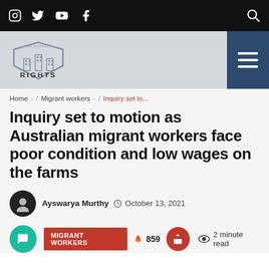The Workers Rights — social media icons bar
[Figure (logo): The Workers Rights shield logo with text RIGHTS]
Home - / Migrant workers - / Inquiry set to...
Inquiry set to motion as Australian migrant workers face poor condition and low wages on the farms
Ayswarya Murthy  October 13, 2021
MIGRANT WORKERS  🔥 859  2 minute read